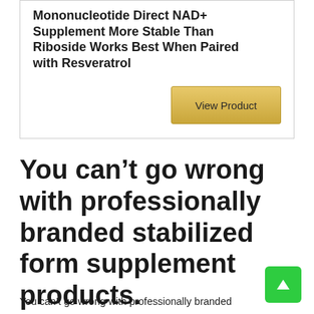Mononucleotide Direct NAD+ Supplement More Stable Than Riboside Works Best When Paired with Resveratrol
View Product
You can't go wrong with professionally branded stabilized form supplement products.
You can't go wrong with professionally branded